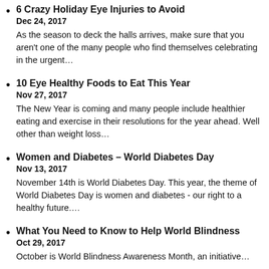6 Crazy Holiday Eye Injuries to Avoid
Dec 24, 2017
As the season to deck the halls arrives, make sure that you aren't one of the many people who find themselves celebrating in the urgent…
10 Eye Healthy Foods to Eat This Year
Nov 27, 2017
The New Year is coming and many people include healthier eating and exercise in their resolutions for the year ahead. Well other than weight loss…
Women and Diabetes – World Diabetes Day
Nov 13, 2017
November 14th is World Diabetes Day. This year, the theme of World Diabetes Day is women and diabetes - our right to a healthy future….
What You Need to Know to Help World Blindness
Oct 29, 2017
October is World Blindness Awareness Month, an initiative…